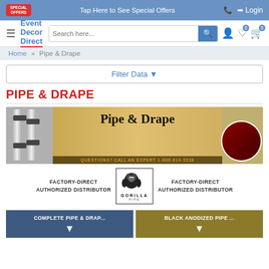Tap Here to See Special Offers | Login
[Figure (screenshot): Event Decor Direct website navigation with logo, search bar, and cart icons]
Home » Pipe & Drape
Filter Data
PIPE & DRAPE
[Figure (illustration): Pipe & Drape banner image with pipe hardware on left, draped event setup in center, and call to action: QUESTIONS? CALL AN EXPERT 1-800-914-3538]
[Figure (logo): Gorilla Pipe logo with gorilla graphic, text: FACTORY-DIRECT AUTHORIZED DISTRIBUTOR on both sides]
COMPLETE PIPE & DRAP...
BLACK ANODIZED PIPE ...